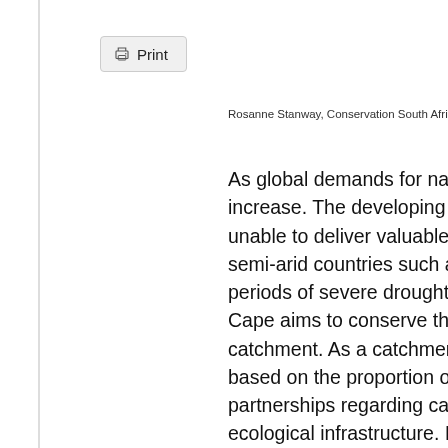Print
Rosanne Stanway, Conservation South Africa
As global demands for natural reso... increase. The developing ecologica... unable to deliver valuable services ... semi-arid countries such as South A... periods of severe drought. The uMa... Cape aims to conserve the river sy... catchment. As a catchment, it is ra... based on the proportion of strategi... partnerships regarding catchment m... ecological infrastructure. It is a criti... continue to experience considerabl... growing population. This study pres... conducted through collaboration wi... Outcomes highlight catchment area... protection, restoration and stakeho... freshwater biodiversity pattern...